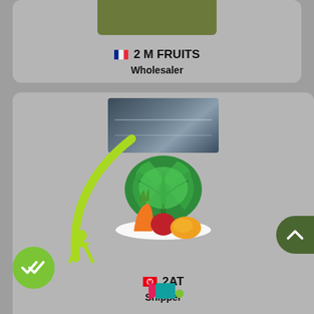[Figure (screenshot): Mobile app screenshot showing business listings. Top card shows '2 M FRUITS' Wholesaler with French flag. Middle card shows vegetables illustration with '2AT' Shipper and Tunisian flag. Bottom partial cards visible with green checkmark circle and music/app icons.]
2 M FRUITS
Wholesaler
2AT
Shipper